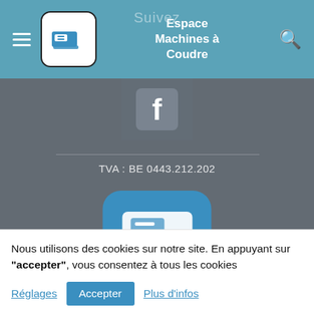Espace Machines à Coudre
[Figure (screenshot): Gray background section with Facebook icon placeholder, a horizontal divider line, TVA number text, and a sewing machine app icon at the bottom.]
TVA : BE 0443.212.202
Nous utilisons des cookies sur notre site. En appuyant sur "accepter", vous consentez à tous les cookies
Réglages  Accepter  Plus d'infos